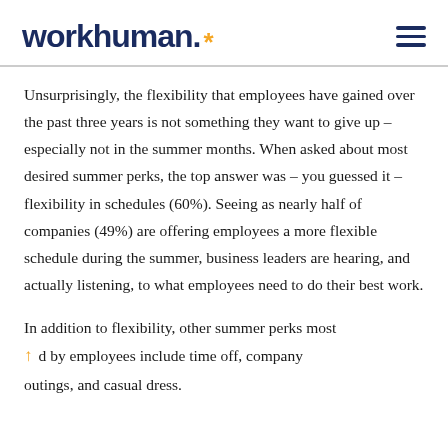workhuman*
Unsurprisingly, the flexibility that employees have gained over the past three years is not something they want to give up – especially not in the summer months. When asked about most desired summer perks, the top answer was – you guessed it – flexibility in schedules (60%). Seeing as nearly half of companies (49%) are offering employees a more flexible schedule during the summer, business leaders are hearing, and actually listening, to what employees need to do their best work.
In addition to flexibility, other summer perks most desired by employees include time off, company outings, and casual dress.